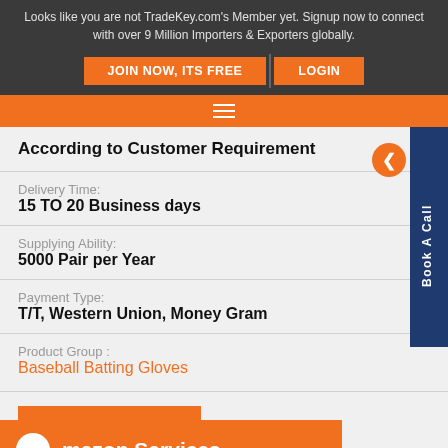Looks like you are not TradeKey.com's Member yet. Signup now to connect with over 9 Million Importers & Exporters globally.
JOIN NOW, ITS FREE
LOGIN
According to Customer Requirement
Delivery Time:
15 TO 20 Business days
Supplying Ability:
5000 Pair per Year
Payment Type:
T/T, Western Union, Money Gram
Product Group :
Baseball Batting Gloves
mazon Services
Save Up to 65%